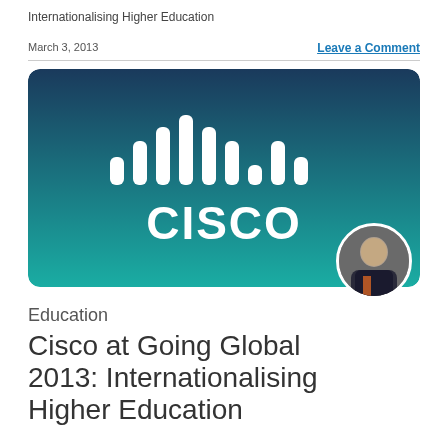Internationalising Higher Education
March 3, 2013
Leave a Comment
[Figure (logo): Cisco logo banner with teal-to-dark-blue gradient background and white Cisco signal bars logo above the word CISCO, with a circular headshot photo of a man in a suit overlaid in the bottom-right corner]
Education
Cisco at Going Global 2013: Internationalising Higher Education